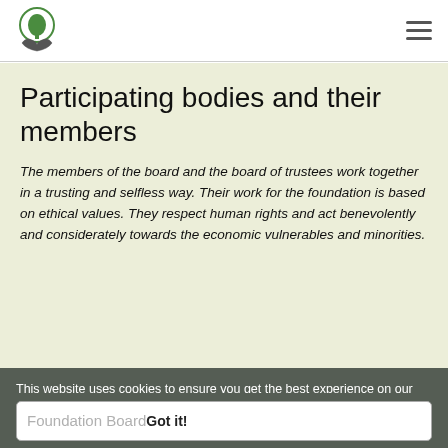[Figure (logo): Green tree logo with hands holding the tree, circular emblem]
Participating bodies and their members
The members of the board and the board of trustees work together in a trusting and selfless way. Their work for the foundation is based on ethical values. They respect human rights and act benevolently and considerately towards the economic vulnerables and minorities.
This website uses cookies to ensure you get the best experience on our website.
Foundation Board Got it!